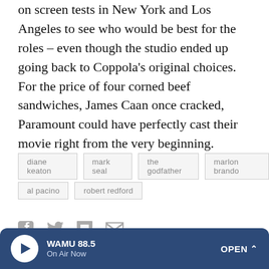on screen tests in New York and Los Angeles to see who would be best for the roles – even though the studio ended up going back to Coppola's original choices. For the price of four corned beef sandwiches, James Caan once cracked, Paramount could have perfectly cast their movie right from the very beginning.
diane keaton
mark seal
the godfather
marlon brando
al pacino
robert redford
[Figure (other): Social share icons: Facebook, Twitter, Flipboard, Email]
Sign Up For The Pop Culture Happy Hour Newsletter
WAMU 88.5 On Air Now